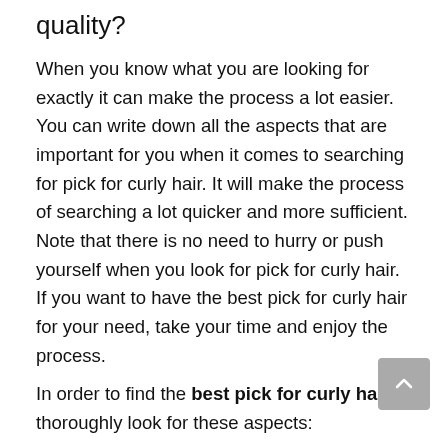quality?
When you know what you are looking for exactly it can make the process a lot easier. You can write down all the aspects that are important for you when it comes to searching for pick for curly hair. It will make the process of searching a lot quicker and more sufficient. Note that there is no need to hurry or push yourself when you look for pick for curly hair. If you want to have the best pick for curly hair for your need, take your time and enjoy the process.
In order to find the best pick for curly hair, thoroughly look for these aspects:
Brand: Before buying the product, search for information about its brand. This way you will